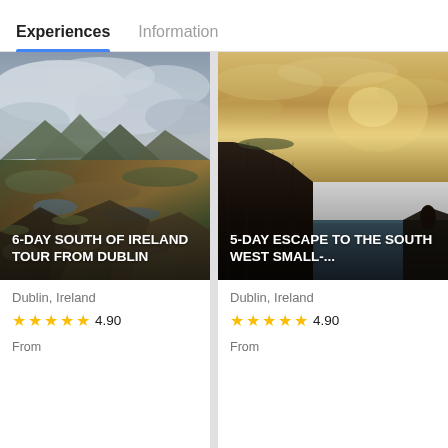Experiences  Information
[Figure (photo): Rocky Irish landscape with dramatic cloudy sky, mountains and moorland in the background, rocks in the foreground. Overlay text: 6-DAY SOUTH OF IRELAND TOUR FROM DUBLIN]
Dublin, Ireland
★★★★★ 4.90
From
[Figure (photo): Cliffs of Moher at golden hour sunset, dramatic sea cliffs rising from the ocean under a warm sky. Overlay text: 5-DAY ESCAPE TO THE SOUTH WEST SMALL-...]
Dublin, Ireland
★★★★★ 4.90
From